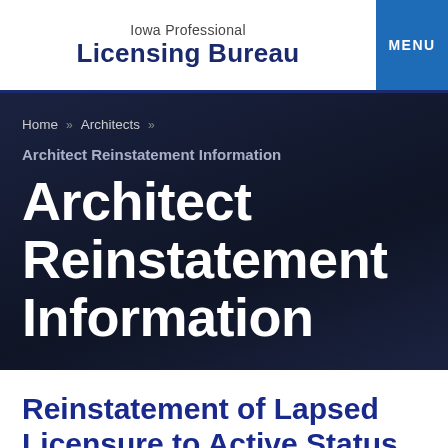Iowa Professional Licensing Bureau
MENU
Home » Architects »
Architect Reinstatement Information
Architect Reinstatement Information
Reinstatement of Lapsed Licensure to Active Status